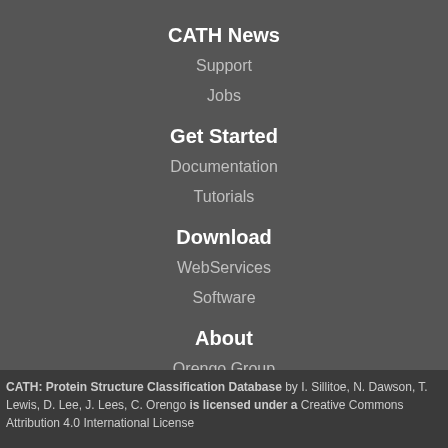CATH News
Support
Jobs
Get Started
Documentation
Tutorials
Download
WebServices
Software
About
Orengo Group
Privacy Policy
CATH: Protein Structure Classification Database by I. Sillitoe, N. Dawson, T. Lewis, D. Lee, J. Lees, C. Orengo is licensed under a Creative Commons Attribution 4.0 International License